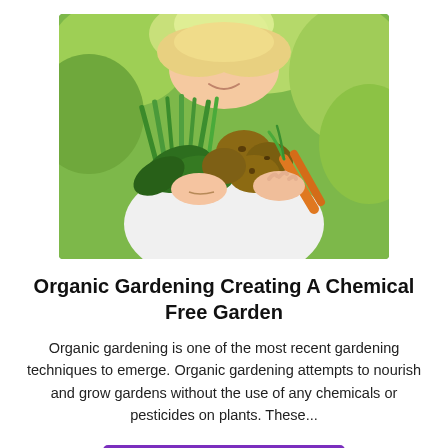[Figure (photo): Child holding a large bundle of freshly harvested vegetables including potatoes, carrots, green onions, and leafy greens against a bright green garden background.]
Organic Gardening Creating A Chemical Free Garden
Organic gardening is one of the most recent gardening techniques to emerge. Organic gardening attempts to nourish and grow gardens without the use of any chemicals or pesticides on plants. These...
CONTINUE READING